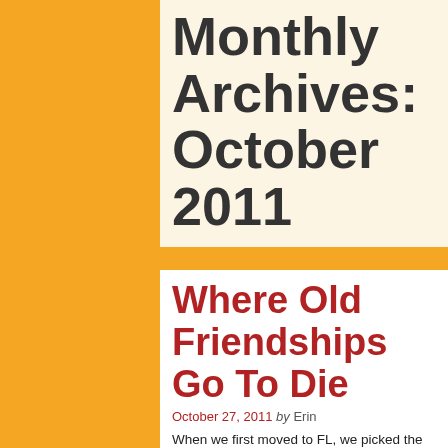Monthly Archives: October 2011
Where Old Friendships Go To Die
October 27, 2011 by Erin
When we first moved to FL, we picked the area we did because we were familiar with it (well that and the fact that this county has a great school system).  We were familiar with it because I had a friend who had lived in this area since high school.  I won't get into the